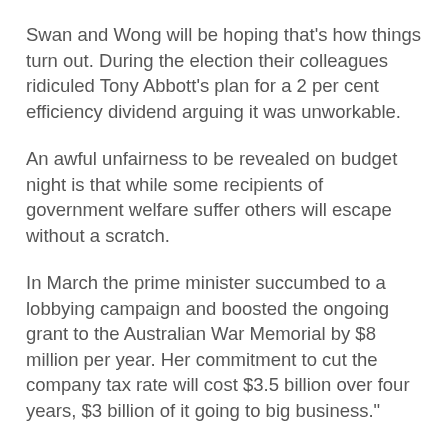Swan and Wong will be hoping that’s how things turn out. During the election their colleagues ridiculed Tony Abbott’s plan for a 2 per cent efficiency dividend arguing it was unworkable.
An awful unfairness to be revealed on budget night is that while some recipients of government welfare suffer others will escape without a scratch.
In March the prime minister succumbed to a lobbying campaign and boosted the ongoing grant to the Australian War Memorial by $8 million per year. Her commitment to cut the company tax rate will cost $3.5 billion over four years, $3 billion of it going to big business.”
Bandt wants the gift to big companies reexamined before jobless Australians are made to suffer.
“We are being told we are in exceptional circumstances, that the high dollar and natural disasters have put things up for grabs. The government should be prepared to be as tough on corporate welfare as it is on the welfare of…